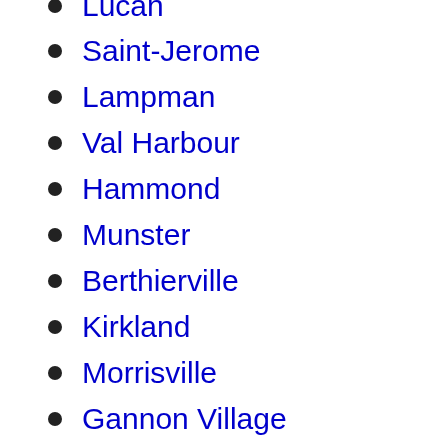Lucan
Saint-Jerome
Lampman
Val Harbour
Hammond
Munster
Berthierville
Kirkland
Morrisville
Gannon Village
Brinkin
Belmont